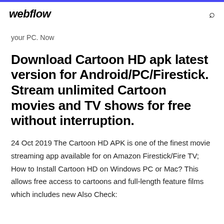webflow
your PC. Now
Download Cartoon HD apk latest version for Android/PC/Firestick. Stream unlimited Cartoon movies and TV shows for free without interruption.
24 Oct 2019 The Cartoon HD APK is one of the finest movie streaming app available for on Amazon Firestick/Fire TV; How to Install Cartoon HD on Windows PC or Mac? This allows free access to cartoons and full-length feature films which includes new Also Check: